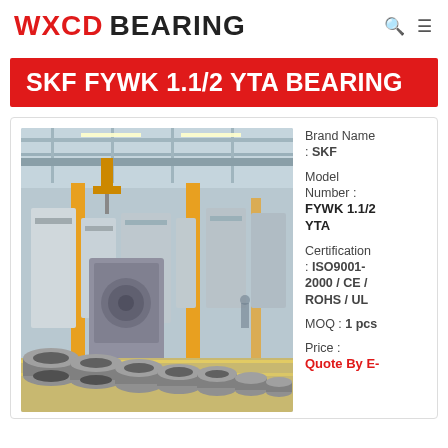WXCD BEARING
SKF FYWK 1.1/2 YTA BEARING
[Figure (photo): Factory floor photo showing industrial bearing manufacturing facility with overhead cranes, yellow pillars, CNC machines, workers, and stacked metal bearing rings in the foreground]
Brand Name : SKF
Model Number : FYWK 1.1/2 YTA
Certification : ISO9001-2000 / CE / ROHS / UL
MOQ : 1 pcs
Price : Quote By E-